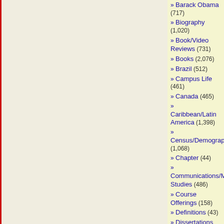» Barack Obama (717)
» Biography (1,020)
» Book/Video Reviews (731)
» Books (2,076)
» Brazil (512)
» Campus Life (461)
» Canada (465)
» Caribbean/Latin America (1,398)
» Census/Demographics (1,068)
» Chapter (44)
» Communications/Media Studies (486)
» Course Offerings (158)
» Definitions (43)
» Dissertations (445)
» Economics (110)